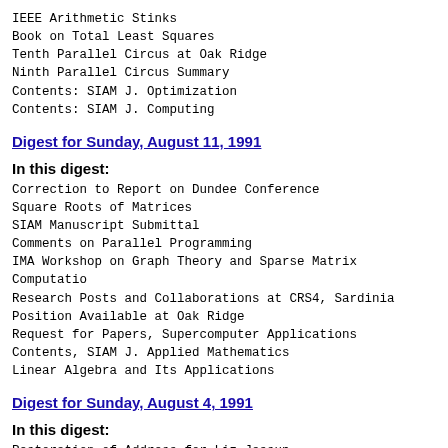IEEE Arithmetic Stinks
Book on Total Least Squares
Tenth Parallel Circus at Oak Ridge
Ninth Parallel Circus Summary
Contents: SIAM J. Optimization
Contents: SIAM J. Computing
Digest for Sunday, August 11, 1991
In this digest:
Correction to Report on Dundee Conference
Square Roots of Matrices
SIAM Manuscript Submittal
Comments on Parallel Programming
IMA Workshop on Graph Theory and Sparse Matrix Computation
Research Posts and Collaborations at CRS4, Sardinia
Position Available at Oak Ridge
Request for Papers, Supercomputer Applications
Contents, SIAM J. Applied Mathematics
Linear Algebra and Its Applications
Digest for Sunday, August 4, 1991
In this digest:
Restoration of Address for Liz Jessup